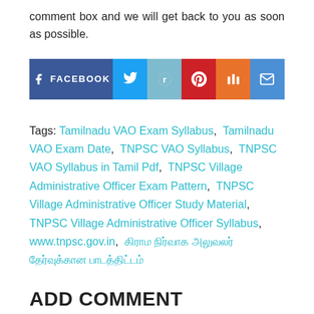comment box and we will get back to you as soon as possible.
[Figure (other): Social media share buttons: Facebook, Twitter, Reddit, Pinterest, Mix, Email]
Tags: Tamilnadu VAO Exam Syllabus, Tamilnadu VAO Exam Date, TNPSC VAO Syllabus, TNPSC VAO Syllabus in Tamil Pdf, TNPSC Village Administrative Officer Exam Pattern, TNPSC Village Administrative Officer Study Material, TNPSC Village Administrative Officer Syllabus, www.tnpsc.gov.in, [Tamil text tag]
ADD COMMENT